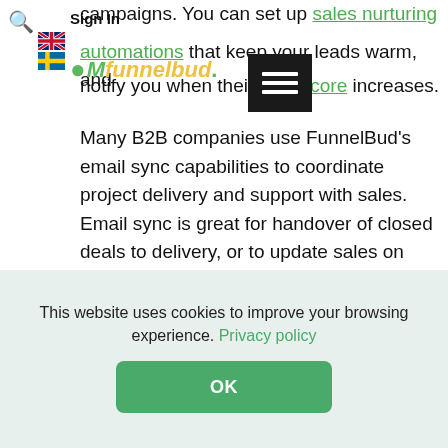Sign In
campaigns. You can set up sales nurturing automations that keep your leads warm, and notify you when their lead score increases.
Many B2B companies use FunnelBud's email sync capabilities to coordinate project delivery and support with sales. Email sync is great for handover of closed deals to delivery, or to update sales on what's happening with clients after the deal is closed.
Improved inter- and intra-team
This website uses cookies to improve your browsing experience. Privacy policy